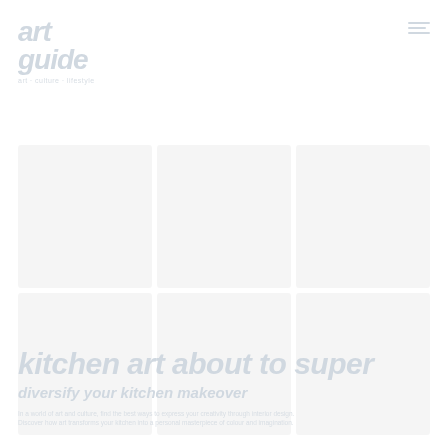art guide
art guide subtitle/tagline
[Figure (photo): Grid of art-related photos arranged in two rows and three columns, all rendered in very light/washed out tones against white background]
kitchen art about to super
diversify your kitchen makeover
Descriptive body text about kitchen art and diversifying kitchen makeover, rendered in very light gray